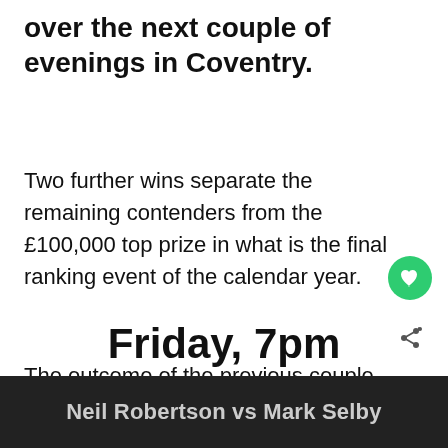over the next couple of evenings in Coventry.
Two further wins separate the remaining contenders from the £100,000 top prize in what is the final ranking event of the calendar year.
The outcome of the previous couple of tournaments revolved around a pair of young international talents, but this week's action will see the focus shift back to the seasoned warhorses.
Friday, 7pm
Neil Robertson vs Mark Selby